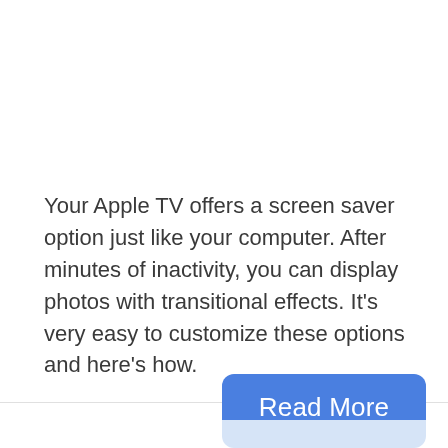Your Apple TV offers a screen saver option just like your computer. After minutes of inactivity, you can display photos with transitional effects. It's very easy to customize these options and here's how.
Read More